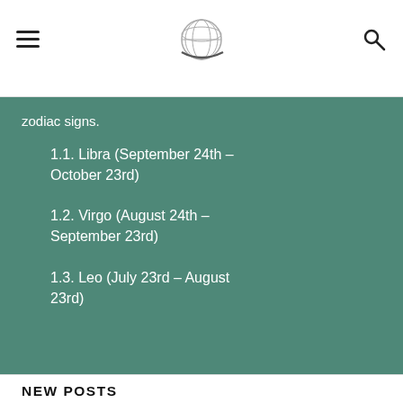[Logo: globe/compass icon]
zodiac signs.
1.1. Libra (September 24th – October 23rd)
1.2. Virgo (August 24th – September 23rd)
1.3. Leo (July 23rd – August 23rd)
NEW POSTS
[Figure (photo): Dark brown thumbnail image with white bold text: Allow Them To Do To You In A Relationship According To]
ZODIAC
What You Should Not Allow Them To Do To You In A